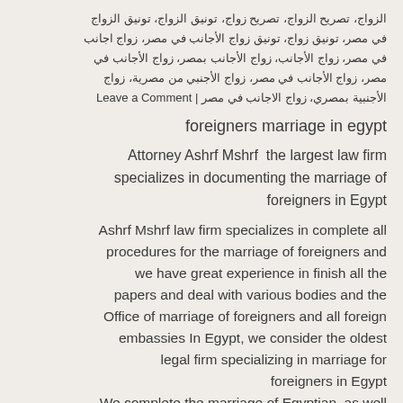الزواج، تصريح الزواج، تصريح زواج، تونيق الزواج، تونيق الزواج في مصر، تونيق زواج، تونيق زواج الأجانب في مصر، زواج اجانب في مصر، زواج الأجانب، زواج الأجانب بمصر، زواج الأجانب في مصر، زواج الأجانب في مصر، زواج الأجنبي من مصرية، زواج الأجنبية بمصري، زواج الاجانب في مصر | Leave a Comment
foreigners marriage in egypt
Attorney Ashrf Mshrf  the largest law firm specializes in documenting the marriage of foreigners in Egypt
Ashrf Mshrf law firm specializes in complete all procedures for the marriage of foreigners and we have great experience in finish all the papers and deal with various bodies and the Office of marriage of foreigners and all foreign embassies In Egypt, we consider the oldest legal firm specializing in marriage for foreigners in Egypt
We complete the marriage of Egyptian, as well